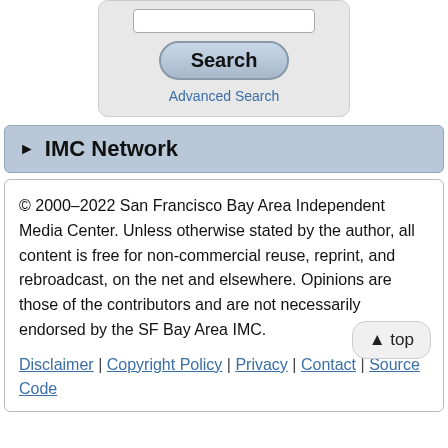[Figure (screenshot): Search box UI element with text input stub, Search button, and Advanced Search link]
▶ IMC Network
© 2000–2022 San Francisco Bay Area Independent Media Center. Unless otherwise stated by the author, all content is free for non-commercial reuse, reprint, and rebroadcast, on the net and elsewhere. Opinions are those of the contributors and are not necessarily endorsed by the SF Bay Area IMC.
Disclaimer | Copyright Policy | Privacy | Contact | Source Code